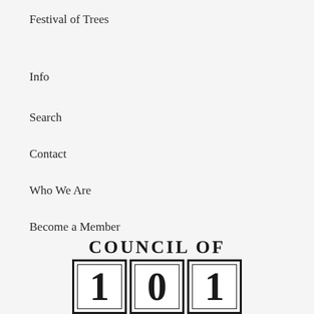Festival of Trees
Info
Search
Contact
Who We Are
Become a Member
[Figure (logo): Council of 101 logo with text 'COUNCIL OF' above three boxed digits '1', '0', '1']